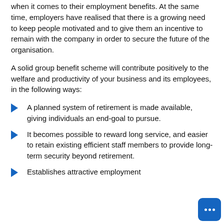when it comes to their employment benefits. At the same time, employers have realised that there is a growing need to keep people motivated and to give them an incentive to remain with the company in order to secure the future of the organisation.
A solid group benefit scheme will contribute positively to the welfare and productivity of your business and its employees, in the following ways:
A planned system of retirement is made available, giving individuals an end-goal to pursue.
It becomes possible to reward long service, and easier to retain existing efficient staff members to provide long-term security beyond retirement.
Establishes attractive employment